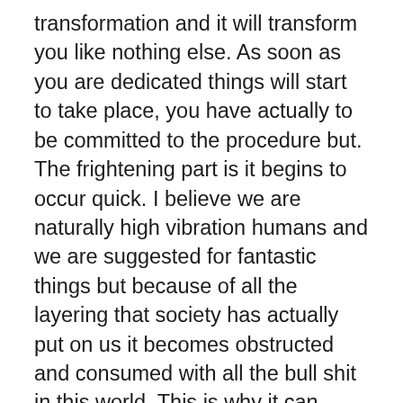transformation and it will transform you like nothing else. As soon as you are dedicated things will start to take place, you have actually to be committed to the procedure but. The frightening part is it begins to occur quick. I believe we are naturally high vibration humans and we are suggested for fantastic things but because of all the layering that society has actually put on us it becomes obstructed and consumed with all the bull shit in this world. This is why it can spend some time for you understand your true self. Due to the fact that there's a lot layering that's blocking the true you from coming about and because of this it makes the journey that a lot more extreme. Due to the fact that of all the layering inside you, the more layers you have the more intense